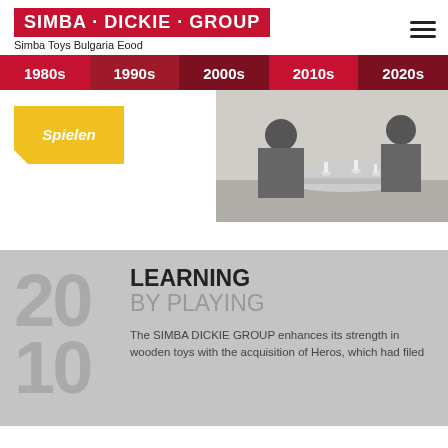SIMBA · DICKIE · GROUP
Simba Toys Bulgaria Eood
1980s  1990s  2000s  2010s  2020s
[Figure (photo): Navigation bar with decade tabs (1980s, 1990s, 2000s, 2010s, 2020s) in red/dark red, and below: a yellow Spielen badge on the left and a black-and-white photo of two people at a round table with toy figures on the right.]
LEARNING
BY PLAYING
The SIMBA DICKIE GROUP enhances its strength in wooden toys with the acquisition of Heros, which had filed